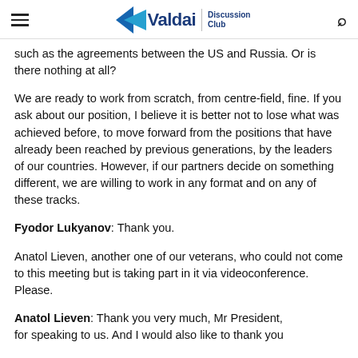Valdai Discussion Club
such as the agreements between the US and Russia. Or is there nothing at all?
We are ready to work from scratch, from centre-field, fine. If you ask about our position, I believe it is better not to lose what was achieved before, to move forward from the positions that have already been reached by previous generations, by the leaders of our countries. However, if our partners decide on something different, we are willing to work in any format and on any of these tracks.
Fyodor Lukyanov: Thank you.
Anatol Lieven, another one of our veterans, who could not come to this meeting but is taking part in it via videoconference. Please.
Anatol Lieven: Thank you very much, Mr President, for speaking to us. And I would also like to thank you